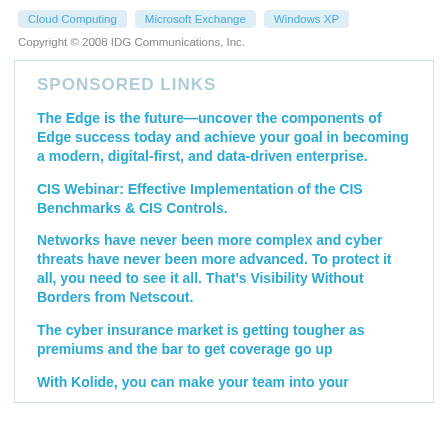Cloud Computing   Microsoft Exchange   Windows XP
Copyright © 2008 IDG Communications, Inc.
SPONSORED LINKS
The Edge is the future—uncover the components of Edge success today and achieve your goal in becoming a modern, digital-first, and data-driven enterprise.
CIS Webinar: Effective Implementation of the CIS Benchmarks & CIS Controls.
Networks have never been more complex and cyber threats have never been more advanced. To protect it all, you need to see it all. That's Visibility Without Borders from Netscout.
The cyber insurance market is getting tougher as premiums and the bar to get coverage go up
With Kolide, you can make your team into your